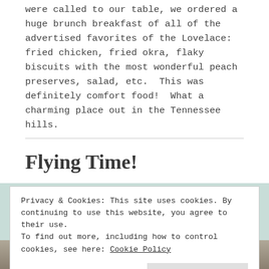were called to our table, we ordered a huge brunch breakfast of all of the advertised favorites of the Lovelace:  fried chicken, fried okra, flaky biscuits with the most wonderful peach preserves, salad, etc.  This was definitely comfort food!  What a charming place out in the Tennessee hills.
Flying Time!
Privacy & Cookies: This site uses cookies. By continuing to use this website, you agree to their use.
To find out more, including how to control cookies, see here: Cookie Policy
Close and accept
[Figure (photo): Partial photo visible at the bottom of the page, appears to be food or a table setting]